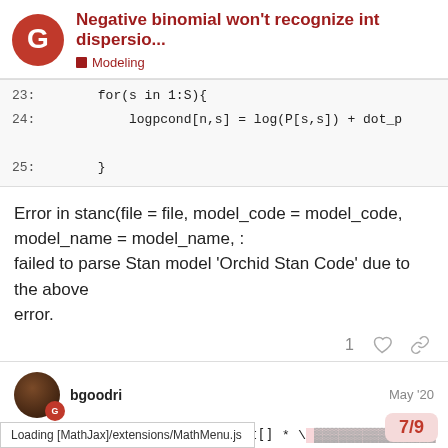Negative binomial won't recognize int dispersio... — Modeling
23:        for(s in 1:S){
24:            logpcond[n,s] = log(P[s,s]) + dot_p
25:        }
Error in stanc(file = file, model_code = model_code, model_name = model_name, :
failed to parse Stan model 'Orchid Stan Code' due to the above error.
bgoodri   May '20
int * real should work but int[] * \ ...